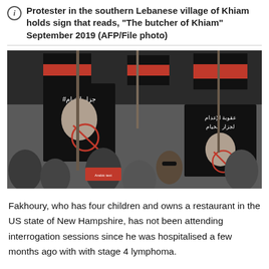Protester in the southern Lebanese village of Khiam holds sign that reads, "The butcher of Khiam" September 2019 (AFP/File photo)
[Figure (photo): Crowd of protesters in southern Lebanese village of Khiam, holding signs with Arabic text and photos, with red, black, and white flags visible in the background.]
Fakhoury, who has four children and owns a restaurant in the US state of New Hampshire, has not been attending interrogation sessions since he was hospitalised a few months ago with with stage 4 lymphoma.